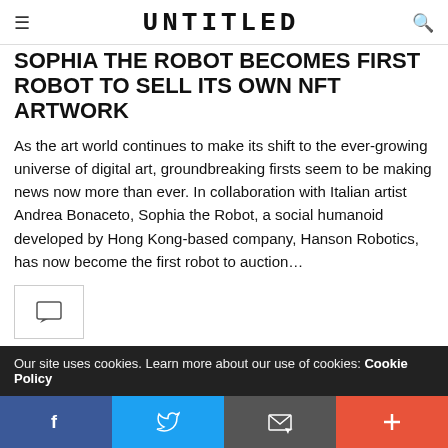UNTITLED
SOPHIA THE ROBOT BECOMES FIRST ROBOT TO SELL ITS OWN NFT ARTWORK
As the art world continues to make its shift to the ever-growing universe of digital art, groundbreaking firsts seem to be making news now more than ever. In collaboration with Italian artist Andrea Bonaceto, Sophia the Robot, a social humanoid developed by Hong Kong-based company, Hanson Robotics, has now become the first robot to auction...
[Figure (other): Comment/speech bubble icon button in a bordered box]
Our site uses cookies. Learn more about our use of cookies: Cookie Policy
Social share bar: Facebook, Twitter, Email, Plus